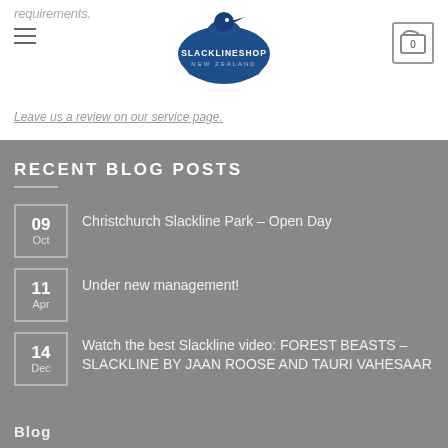requirements.
Leave us a review on our service page.
RECENT BLOG POSTS
09 Oct — Christchurch Slackline Park – Open Day
11 Apr — Under new management!
14 Dec — Watch the best Slackline video: FOREST BEASTS – SLACKLINE BY JAAN ROOSE AND TAURI VAHESAAR
Blog